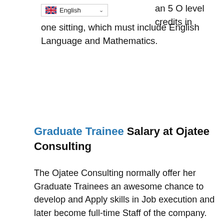[Figure (screenshot): Language selector dropdown showing UK flag and 'English' label with chevron]
an 5 O level credits in one sitting, which must include English Language and Mathematics.
Graduate Trainee Salary at Ojatee Consulting
The Ojatee Consulting normally offer her Graduate Trainees an awesome chance to develop and Apply skills in Job execution and later become full-time Staff of the company.